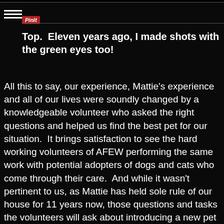Top. Eleven years ago, I made shots with the green eyes too!
All this to say, our experience, Mattie's experience and all of our lives were soundly changed by a knowledgeable volunteer who asked the right questions and helped us find the best pet for our situation.  It brings satisfaction to see the hard working volunteers of AFEW performing the same work with potential adopters of dogs and cats who come through their care.  And while it wasn't pertinent to us, as Mattie has held sole rule of our house for 11 years now, those questions and tasks the volunteers will ask about introducing a new pet into a home who already has pets will be critical to the overall success for both pets and family.  Spend some time with your volunteer, allowing your pets who are already members of your pack to get to know your potential new pet on neutral ground, take a walk together, see how they play and interact, before you take the plunge... You'll be happy you did, and so with all the pets